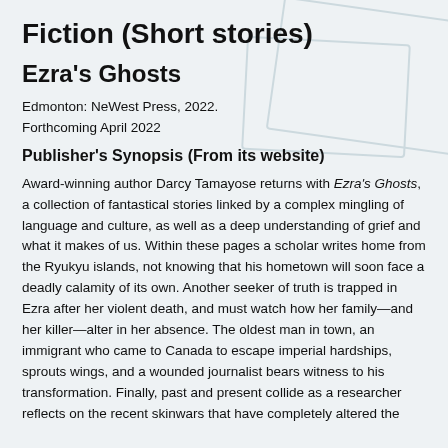Fiction (Short stories)
Ezra's Ghosts
Edmonton: NeWest Press, 2022.
Forthcoming April 2022
Publisher's Synopsis (From its website)
Award-winning author Darcy Tamayose returns with Ezra's Ghosts, a collection of fantastical stories linked by a complex mingling of language and culture, as well as a deep understanding of grief and what it makes of us. Within these pages a scholar writes home from the Ryukyu islands, not knowing that his hometown will soon face a deadly calamity of its own. Another seeker of truth is trapped in Ezra after her violent death, and must watch how her family—and her killer—alter in her absence. The oldest man in town, an immigrant who came to Canada to escape imperial hardships, sprouts wings, and a wounded journalist bears witness to his transformation. Finally, past and present collide as a researcher reflects on the recent skinwars that have completely altered the